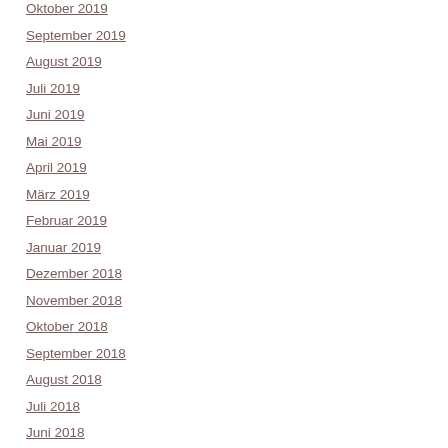Oktober 2019
September 2019
August 2019
Juli 2019
Juni 2019
Mai 2019
April 2019
März 2019
Februar 2019
Januar 2019
Dezember 2018
November 2018
Oktober 2018
September 2018
August 2018
Juli 2018
Juni 2018
Mai 2018
April 2018